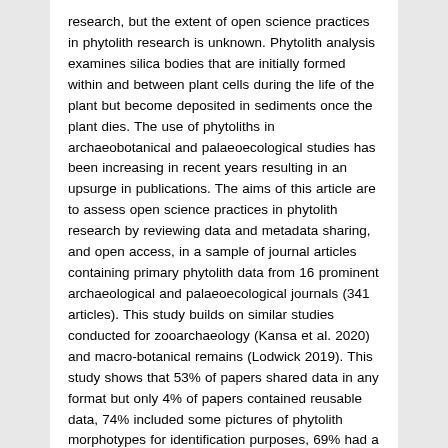research, but the extent of open science practices in phytolith research is unknown. Phytolith analysis examines silica bodies that are initially formed within and between plant cells during the life of the plant but become deposited in sediments once the plant dies. The use of phytoliths in archaeobotanical and palaeoecological studies has been increasing in recent years resulting in an upsurge in publications. The aims of this article are to assess open science practices in phytolith research by reviewing data and metadata sharing, and open access, in a sample of journal articles containing primary phytolith data from 16 prominent archaeological and palaeoecological journals (341 articles). This study builds on similar studies conducted for zooarchaeology (Kansa et al. 2020) and macro-botanical remains (Lodwick 2019). This study shows that 53% of papers shared data in any format but only 4% of papers contained reusable data, 74% included some pictures of phytolith morphotypes for identification purposes, 69% had a fully described method, 47% used the International code for phytolith nomenclature (ICPN 1.0) and only 13% of articles were